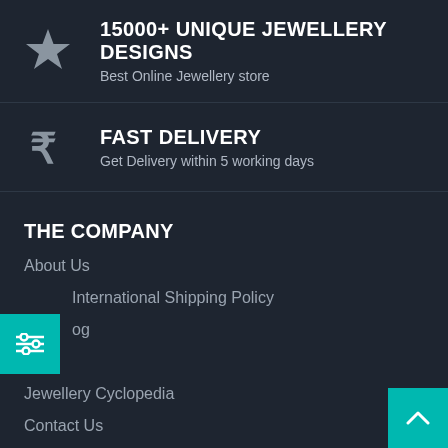15000+ UNIQUE JEWELLERY DESIGNS
Best Online Jewellery store
FAST DELIVERY
Get Delivery within 5 working days
THE COMPANY
About Us
International Shipping Policy
og
FAQ
Jewellery Cyclopedia
Contact Us
Feedback